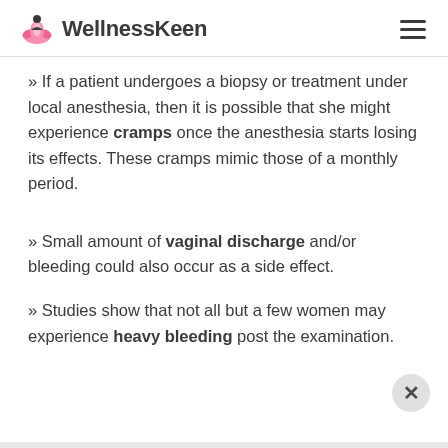WellnessKeen
» If a patient undergoes a biopsy or treatment under local anesthesia, then it is possible that she might experience cramps once the anesthesia starts losing its effects. These cramps mimic those of a monthly period.
» Small amount of vaginal discharge and/or bleeding could also occur as a side effect.
» Studies show that not all but a few women may experience heavy bleeding post the examination.